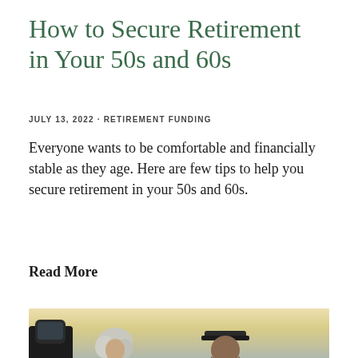How to Secure Retirement in Your 50s and 60s
JULY 13, 2022 · RETIREMENT FUNDING
Everyone wants to be comfortable and financially stable as they age. Here are few tips to help you secure retirement in your 50s and 60s.
Read More
[Figure (photo): Photo of an elderly couple outdoors near a vehicle, with a warm sunset/sky background. A woman with white/gray hair is visible on the left and a man wearing a dark cap is visible on the right.]